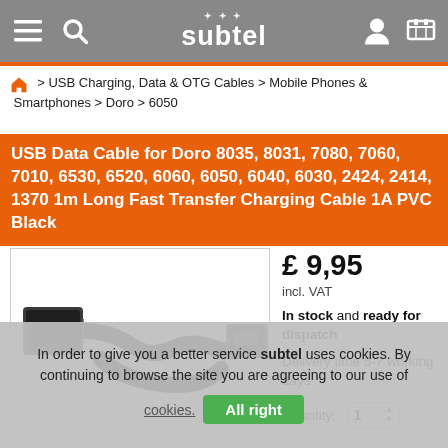subtel
> USB Charging, Data & OTG Cables > Mobile Phones & Smartphones > Doro > 6050
USB Data Cable for Doro 8035, 8031, 7080, 7060, 7010, 6530, 6520, 6060, 6050, 6040, 6030, 2424, 2414, 1370 1m Long Fast Transfer Charging Cable 1A PVC Black
[Figure (photo): Photo of a black USB cable showing both USB Type-A and Micro-USB connectors on a white background]
£ 9,95
incl. VAT
In stock and ready for dispatch
Delivery time 5-7 working days
Quantity: 1
In order to give you a better service subtel uses cookies. By continuing to browse the site you are agreeing to our use of cookies.